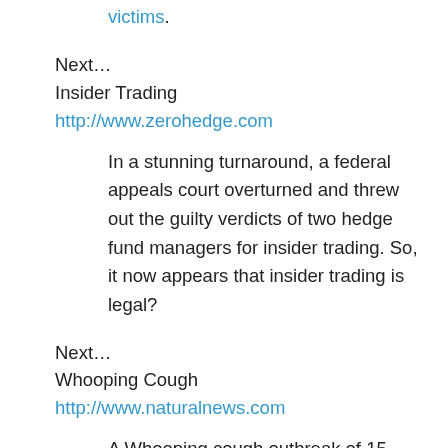victims.
Next…
Insider Trading
http://www.zerohedge.com
In a stunning turnaround, a federal appeals court overturned and threw out the guilty verdicts of two hedge fund managers for insider trading. So, it now appears that insider trading is legal?
Next…
Whooping Cough
http://www.naturalnews.com
A Whooping cough outbreak of 15 vaccinated children at a Massachusetts high school are being blamed on unvaccinated children who were not